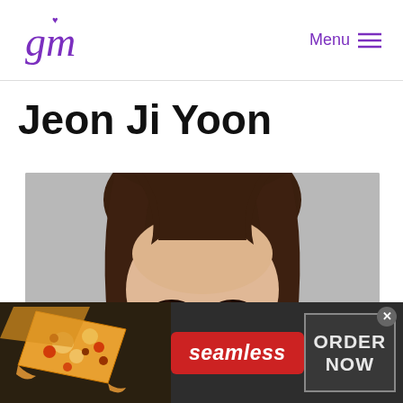[Figure (logo): Stylized cursive 'gm' logo in purple with a small heart above, top-left of page header]
Menu ≡
Jeon Ji Yoon
[Figure (photo): Close-up portrait photo of Jeon Ji Yoon, a Korean woman with brown straight hair and bangs, against a gray background, cropped to show forehead and eyes]
[Figure (other): Seamless food delivery advertisement banner at bottom: photo of pizza slices on the left, red 'seamless' badge in the center, gray 'ORDER NOW' box on the right, with an X close button]